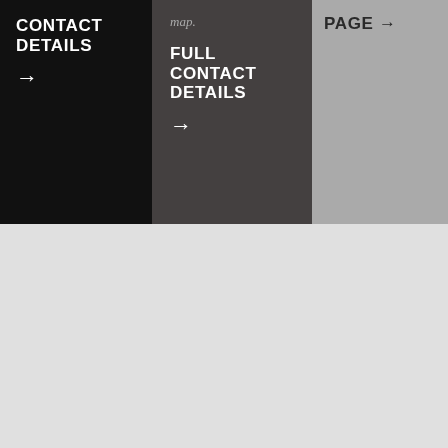CONTACT DETAILS →
map. FULL CONTACT DETAILS →
PAGE →